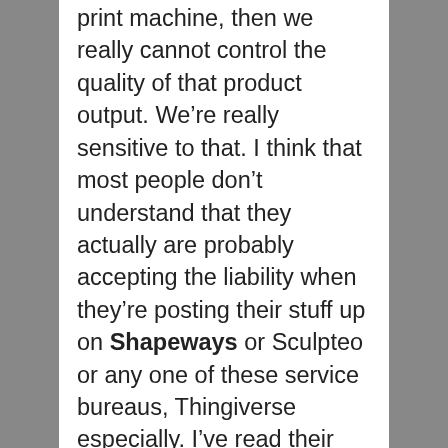print machine, then we really cannot control the quality of that product output. We're really sensitive to that. I think that most people don't understand that they actually are probably accepting the liability when they're posting their stuff up on Shapeways or Sculpteo or any one of these service bureaus, Thingiverse especially. I've read their terms of use pretty recently.
I'm sure a lot of people just don't read it and they click yes to be able to use the site. They're not really sure what they're